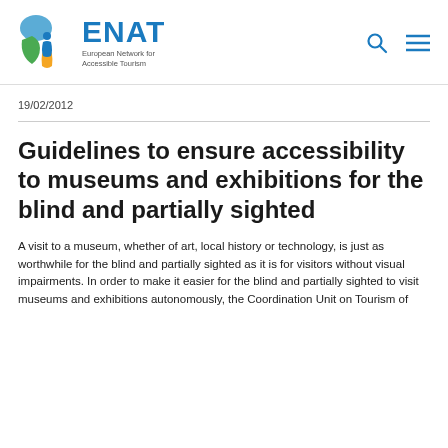ENAT European Network for Accessible Tourism
19/02/2012
Guidelines to ensure accessibility to museums and exhibitions for the blind and partially sighted
A visit to a museum, whether of art, local history or technology, is just as worthwhile for the blind and partially sighted as it is for visitors without visual impairments. In order to make it easier for the blind and partially sighted to visit museums and exhibitions autonomously, the Coordination Unit on Tourism of